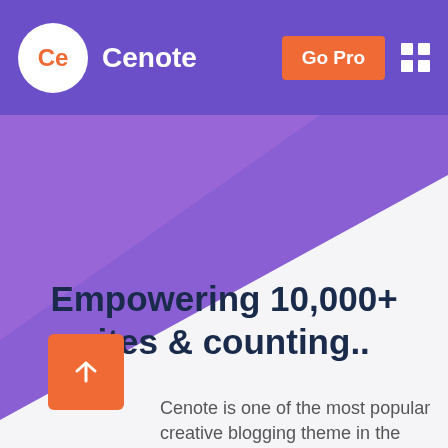Cenote | Go Pro
Empowering 10,000+ sites & counting..
Cenote is one of the most popular creative blogging theme in the WordPress world.